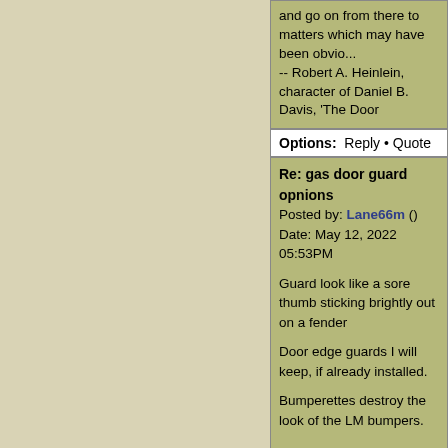and go on from there to matters which may have been obvio...
-- Robert A. Heinlein, character of Daniel B. Davis, 'The Door
Options: Reply • Quote
Re: gas door guard opnions
Posted by: Lane66m ()
Date: May 12, 2022 05:53PM
Guard look like a sore thumb sticking brightly out on a fender
Door edge guards I will keep, if already installed.
Bumperettes destroy the look of the LM bumpers.
Options: Reply • Quote
Re: gas door guard opnions
Posted by: junkman ()
Date: May 12, 2022 06:18PM
This is like asking do you want vanilla or chocolate, and the r... every time, and rarely can you satisfy everyone even once.
--------------------------------------------------------------------------------
Woodstock CT... Located on the Connecticut / Massachusetts... Southbridge MA. About 45 minutes from Hartford CT. 1 1/2 h... Angeles CA 2,937.1 miles. 1 Mile as the crow flies to Big Bird
Options: Reply • Quote